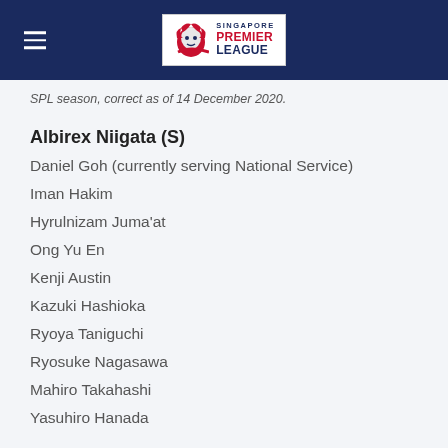Singapore Premier League
SPL season, correct as of 14 December 2020.
Albirex Niigata (S)
Daniel Goh (currently serving National Service)
Iman Hakim
Hyrulnizam Juma'at
Ong Yu En
Kenji Austin
Kazuki Hashioka
Ryoya Taniguchi
Ryosuke Nagasawa
Mahiro Takahashi
Yasuhiro Hanada